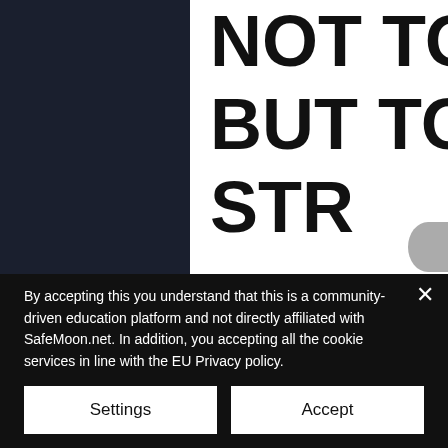[Figure (screenshot): Screenshot of a website with dark left sidebar and white right area showing large bold text 'NOT TO SHOW BUT TO D... STR...' partially visible, with a dark background left panel and white content area.]
By accepting this you understand that this is a community-driven education platform and not directly affiliated with SafeMoon.net. In addition, you accepting all the cookie services in line with the EU Privacy policy.
Settings
Accept